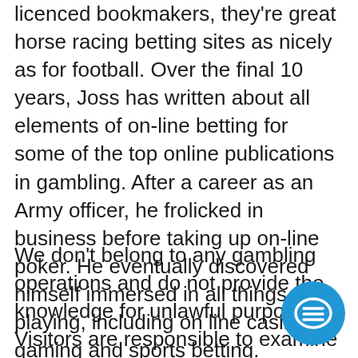licenced bookmakers, they're great horse racing betting sites as nicely as for football. Over the final 10 years, Joss has written about all elements of on-line betting for some of the top online publications in gambling. After a career as an Army officer, he frolicked in business before taking up on-line poker. He eventually discovered himself immersed in all things playing, including on line casino gaming and sports betting.
We don't belong to any gambling operations and do not provide the knowledge for unlawful purposes. Visitors are responsible to examine the laws and their gambling jurisdiction, like age, legal status, etc. Visiting our portal you automatically agree with our Privacy Policy and T&Cs. GamCare presents assist to punters who're referred to as problem gamblers.
[Figure (other): Blue circular chat/messaging button with a horizontal lines (menu/message) icon]